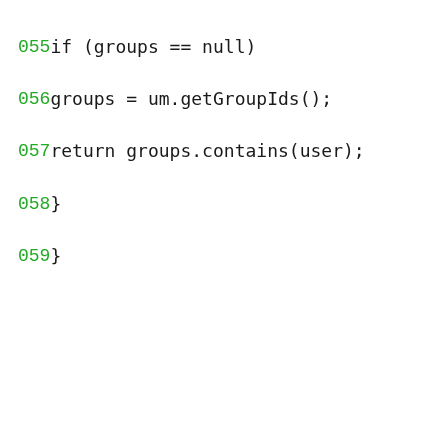055    if (groups == null)
056        groups = um.getGroupIds();
057    return groups.contains(user);
058    }
059  }